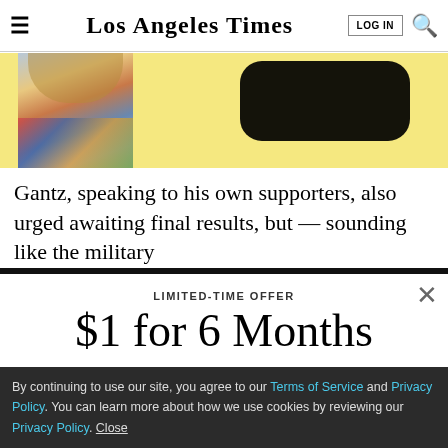Los Angeles Times
[Figure (photo): Partial photo of a woman with blonde hair wearing a floral outfit, on a yellow background with a dark rounded shape on the right.]
Gantz, speaking to his own supporters, also urged awaiting final results, but — sounding like the military
LIMITED-TIME OFFER
$1 for 6 Months
SUBSCRIBE NOW
By continuing to use our site, you agree to our Terms of Service and Privacy Policy. You can learn more about how we use cookies by reviewing our Privacy Policy. Close